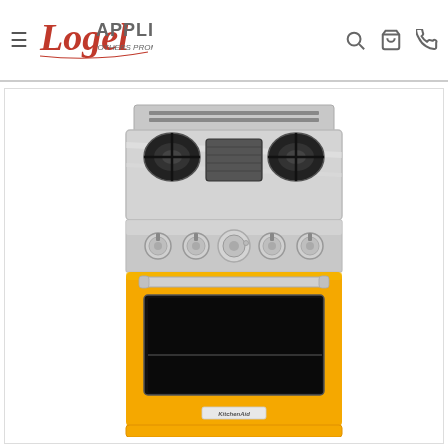Logel Appliance — 'OTHERS PROMISE... WE DELIVER'
[Figure (photo): KitchenAid yellow gas range/stove with stainless steel cooktop featuring 4 burners and a center griddle, silver control knobs, chrome handle, and bright yellow oven door with glass window and KitchenAid logo badge. The oven door is open slightly showing a dark interior. Yellow lower drawer panel below.]